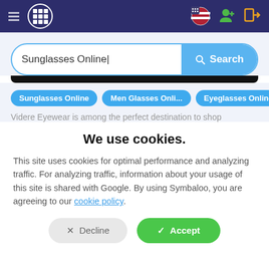[Figure (screenshot): Navigation bar with list icon, grid icon in circle, flag icon, add user icon, and login icon on dark blue background]
[Figure (screenshot): Search bar with text 'Sunglasses Online' and blue Search button]
Sunglasses Online
Men Glasses Onli...
Eyeglasses Online
Videre Eyewear is among the perfect destination to shop
We use cookies.
This site uses cookies for optimal performance and analyzing traffic. For analyzing traffic, information about your usage of this site is shared with Google. By using Symbaloo, you are agreeing to our cookie policy.
× Decline
✓ Accept